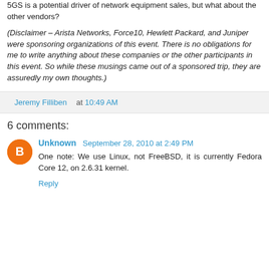5GS is a potential driver of network equipment sales, but what about the other vendors?
(Disclaimer – Arista Networks, Force10, Hewlett Packard, and Juniper were sponsoring organizations of this event. There is no obligations for me to write anything about these companies or the other participants in this event. So while these musings came out of a sponsored trip, they are assuredly my own thoughts.)
Jeremy Filliben at 10:49 AM
6 comments:
Unknown  September 28, 2010 at 2:49 PM
One note: We use Linux, not FreeBSD, it is currently Fedora Core 12, on 2.6.31 kernel.
Reply